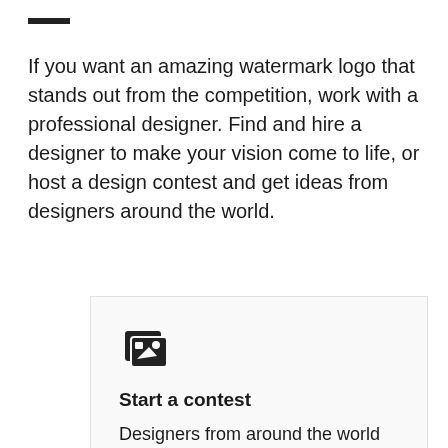—
If you want an amazing watermark logo that stands out from the competition, work with a professional designer. Find and hire a designer to make your vision come to life, or host a design contest and get ideas from designers around the world.
[Figure (illustration): Icon showing two overlapping cards/images symbol in black]
Start a contest
Designers from around the world pitch you ideas. You provide feedback, hone your favorites and choose a winner.